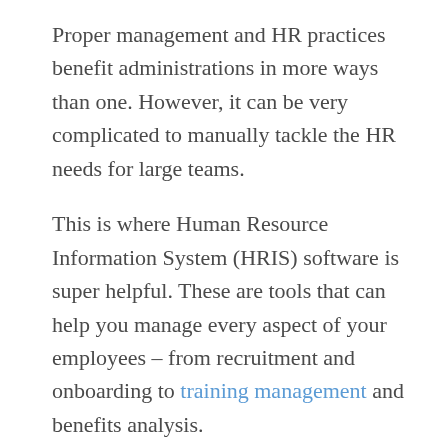Proper management and HR practices benefit administrations in more ways than one. However, it can be very complicated to manually tackle the HR needs for large teams.
This is where Human Resource Information System (HRIS) software is super helpful. These are tools that can help you manage every aspect of your employees – from recruitment and onboarding to training management and benefits analysis.
Sometimes working closely with professional employer organizations, these systems share some similarities to standard HR software but